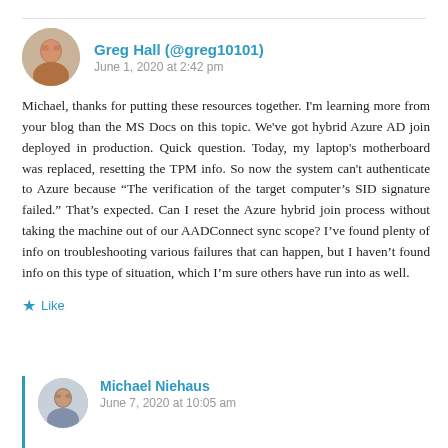Greg Hall (@greg10101)
June 1, 2020 at 2:42 pm
Michael, thanks for putting these resources together. I'm learning more from your blog than the MS Docs on this topic. We've got hybrid Azure AD join deployed in production. Quick question. Today, my laptop's motherboard was replaced, resetting the TPM info. So now the system can't authenticate to Azure because “The verification of the target computer's SID signature failed.” That's expected. Can I reset the Azure hybrid join process without taking the machine out of our AADConnect sync scope? I've found plenty of info on troubleshooting various failures that can happen, but I haven't found info on this type of situation, which I'm sure others have run into as well.
★ Like
Michael Niehaus
June 7, 2020 at 10:05 am